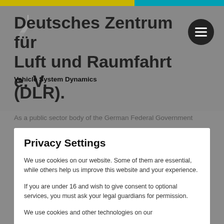Deutsches Zentrum für Luft und Raumfahrt e. V. (DLR).
Vehicle System Dynamics
As a public sector body of the German Federal Government
Privacy Settings
We use cookies on our website. Some of them are essential, while others help us improve this website and your experience.
If you are under 16 and wish to give consent to optional services, you must ask your legal guardians for permission.
We use cookies and other technologies on our